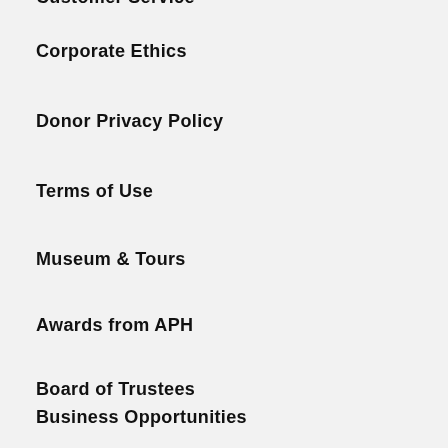Customer Service
Corporate Ethics
Donor Privacy Policy
Terms of Use
Museum & Tours
Awards from APH
Board of Trustees
Business Opportunities